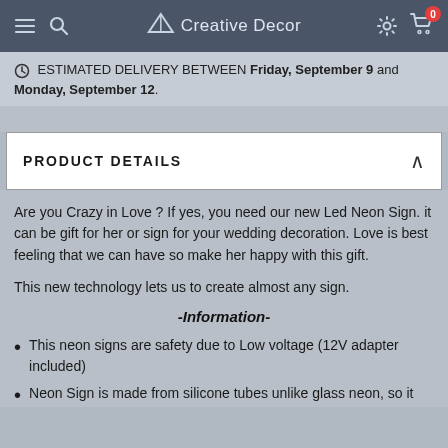Creative Decor
ESTIMATED DELIVERY BETWEEN Friday, September 9 and Monday, September 12.
PRODUCT DETAILS
Are you Crazy in Love ? If yes, you need our new Led Neon Sign. it can be gift for her or sign for your wedding decoration. Love is best feeling that we can have so make her happy with this gift.

This new technology lets us to create almost any sign.
-Information-
This neon signs are safety due to Low voltage (12V adapter included)
Neon Sign is made from silicone tubes unlike glass neon, so it